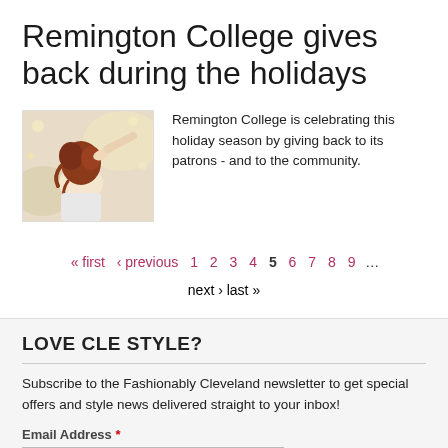Remington College gives back during the holidays
[Figure (photo): Photo of a person styling another person's hair, braiding red/auburn hair in a salon setting]
Remington College is celebrating this holiday season by giving back to its patrons - and to the community.
« first ‹ previous 1 2 3 4 5 6 7 8 9 … next › last »
LOVE CLE STYLE?
Subscribe to the Fashionably Cleveland newsletter to get special offers and style news delivered straight to your inbox!
Email Address *